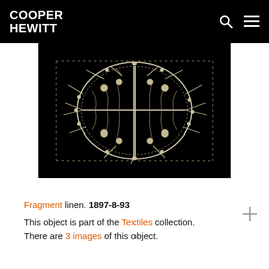COOPER HEWITT
[Figure (photo): Close-up photograph of a white/cream lace textile fragment on a black background, showing intricate needle lace with an oval medallion pattern, floral and cross-like motifs, and open work mesh construction. Object number 1897-8-93.]
Fragment linen. 1897-8-93
This object is part of the Textiles collection. There are 3 images of this object.